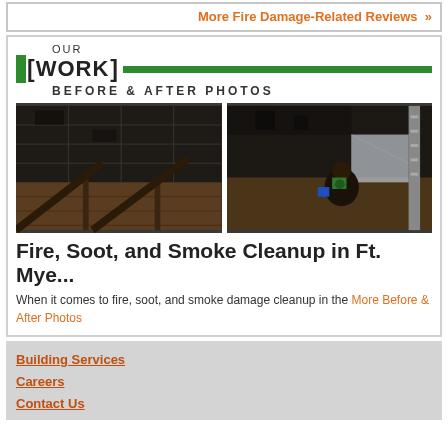More Fire Damage-Related Reviews »
[Figure (photo): Before and after photos of fire, soot, and smoke damage showing charred ceiling and attic space with workers cleaning]
OUR [WORK] BEFORE & AFTER PHOTOS
Fire, Soot, and Smoke Cleanup in Ft. Mye...
When it comes to fire, soot, and smoke damage cleanup in the More Before & After Photos
Building Services
Careers
Contact Us